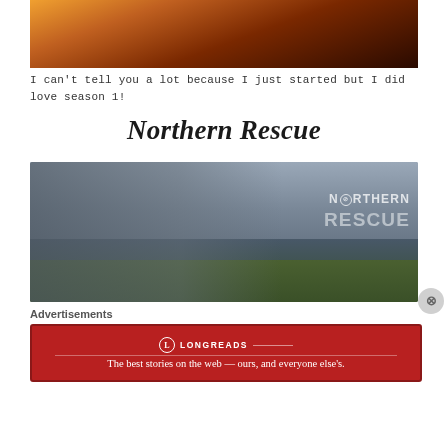[Figure (photo): Top portion of a dark, warm-toned photo showing a person near a glowing light source]
I can't tell you a lot because I just started but I did love season 1!
Northern Rescue
[Figure (photo): Promotional image for the TV show Northern Rescue showing cast members against a cloudy sky with show logo text 'NORTHERN RESCUE']
Advertisements
[Figure (other): Longreads advertisement banner: red background with Longreads logo and text 'The best stories on the web — ours, and everyone else's.']